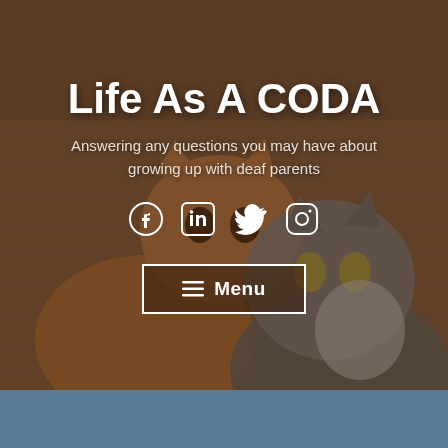[Figure (photo): Two cats on a wooden floor viewed from above — an orange tabby cat on the left and a grey/white tabby cat on the right, both looking up at the camera]
Life As A CODA
Answering any questions you may have about growing up with deaf parents
[Figure (other): Social media icons: Facebook, LinkedIn, Twitter, Instagram]
≡ Menu